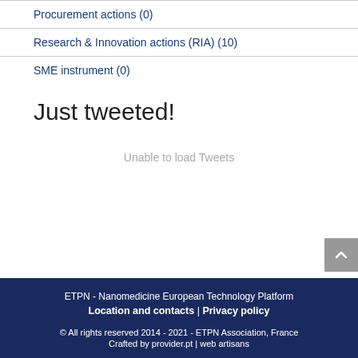Procurement actions (0)
Research & Innovation actions (RIA) (10)
SME instrument (0)
Just tweeted!
Unable to load Tweets
ETPN - Nanomedicine European Technology Platform
Location and contacts | Privacy policy
© All rights reserved 2014 - 2021 - ETPN Association, France
Crafted by provider.pt | web artisans